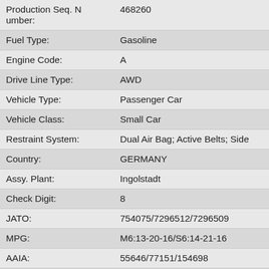| Field | Value |
| --- | --- |
| Production Seq. Number: | 468260 |
| Fuel Type: | Gasoline |
| Engine Code: | A |
| Drive Line Type: | AWD |
| Vehicle Type: | Passenger Car |
| Vehicle Class: | Small Car |
| Restraint System: | Dual Air Bag; Active Belts; Side |
| Country: | GERMANY |
| Assy. Plant: | Ingolstadt |
| Check Digit: | 8 |
| JATO: | 754075/7296512/7296509 |
| MPG: | M6:13-20-16/S6:14-21-16 |
| AAIA: | 55646/77151/154698 |
| AAIA_ENGINE: | 7341/13413 |